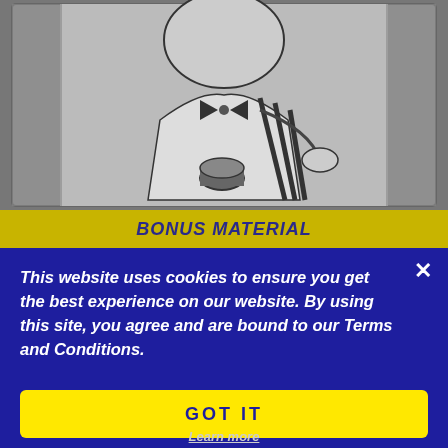[Figure (illustration): Black and white sketch/illustration of a person holding a cylindrical object, possibly a hockey puck or similar sports equipment, cropped at top portion of page]
BONUS MATERIAL
This website uses cookies to ensure you get the best experience on our website. By using this site, you agree and are bound to our Terms and Conditions.
GOT IT
Learn more